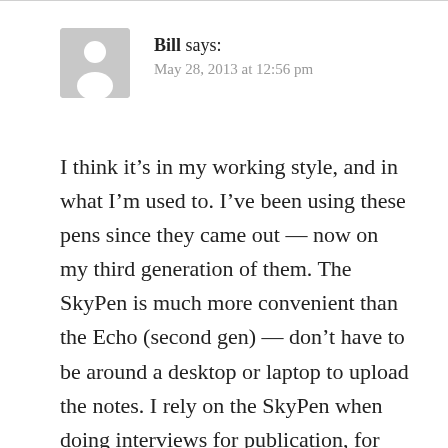[Figure (illustration): Generic user avatar icon — grey rounded rectangle with a white silhouette of a person]
Bill says:
May 28, 2013 at 12:56 pm
I think it’s in my working style, and in what I’m used to. I’ve been using these pens since they came out — now on my third generation of them. The SkyPen is much more convenient than the Echo (second gen) — don’t have to be around a desktop or laptop to upload the notes. I rely on the SkyPen when doing interviews for publication, for keeping conference notes, and for the odd “memo to self”. The only wrinkle for me (now solved) was that for a year or so there was no way to